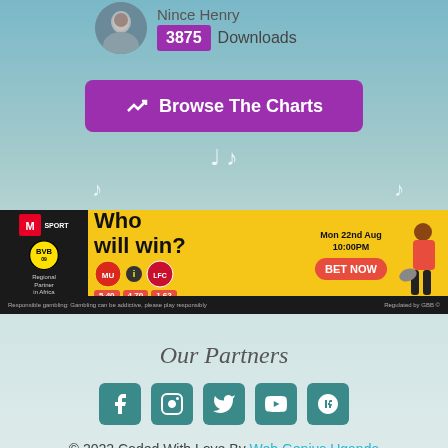[Figure (screenshot): Artist avatar circle photo and download count: 3875 Downloads with 'Nince Henry' label]
[Figure (screenshot): Purple rounded button with chart icon: Browse The Charts]
[Figure (screenshot): Decorative music notes scattered on teal background]
[Figure (screenshot): Sports betting advertisement banner: Who will win? Manchester United vs Liverpool, Mon 22nd Aug 10:00PM, BET NOW, MSport/BVB partner banner]
Our Partners
[Figure (screenshot): Social media icons: Facebook, Instagram, Twitter, YouTube, Google Plus in teal squares]
© 2022 Coded With Love By Web Genius Uganda